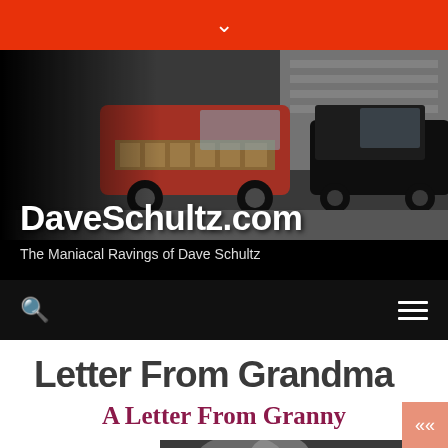▾
[Figure (screenshot): DaveSchultz.com website header banner with classic cars in background, site title 'DaveSchultz.com' and tagline 'The Maniacal Ravings of Dave Schultz']
Letter From Grandma
A Letter From Granny
[Figure (photo): Black and white photograph partially visible at bottom of page, appears to show a fuzzy/fluffy object or animal]